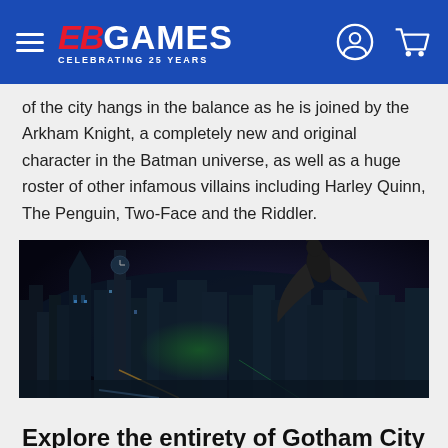EB GAMES - CELEBRATING 25 YEARS
of the city hangs in the balance as he is joined by the Arkham Knight, a completely new and original character in the Batman universe, as well as a huge roster of other infamous villains including Harley Quinn, The Penguin, Two-Face and the Riddler.
[Figure (photo): Aerial view of Gotham City at night with Batman gliding over the city, dark urban landscape with gothic architecture and bright lights below]
Explore the entirety of Gotham City
For the first time, players have the opportunity to explore all of Gotham City in a completely open and free-roaming game world. More than five times that of Batman: Arkham City